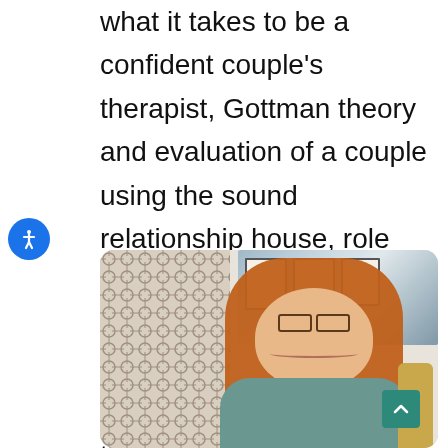what it takes to be a confident couple's therapist, Gottman theory and evaluation of a couple using the sound relationship house, role playing, weekly team meetings, and book clubs are part of the structure and culture of learning at the practice.
[Figure (photo): Interior of a therapy office with a decorative lattice wall panel on the left, framed certificates on the wall, a large abstract painting in blue-gray tones on the upper right, and a smiling woman with red hair and glasses seated in a tan chair in the foreground.]